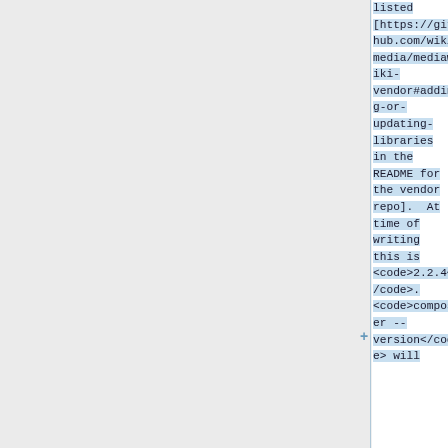listed [https://github.com/wikimedia/mediawiki-vendor#adding-or-updating-libraries in the README for the vendor repo]. At time of writing this is <code>2.2.4</code>. <code>composer --version</code> will